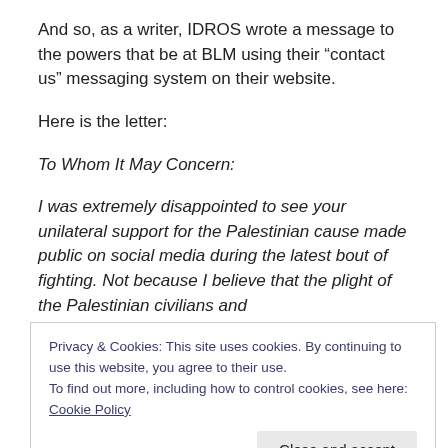And so, as a writer, IDROS wrote a message to the powers that be at BLM using their “contact us” messaging system on their website.
Here is the letter:
To Whom It May Concern:
I was extremely disappointed to see your unilateral support for the Palestinian cause made public on social media during the latest bout of fighting. Not because I believe that the plight of the Palestinian civilians and
Privacy & Cookies: This site uses cookies. By continuing to use this website, you agree to their use.
To find out more, including how to control cookies, see here: Cookie Policy
Close and accept